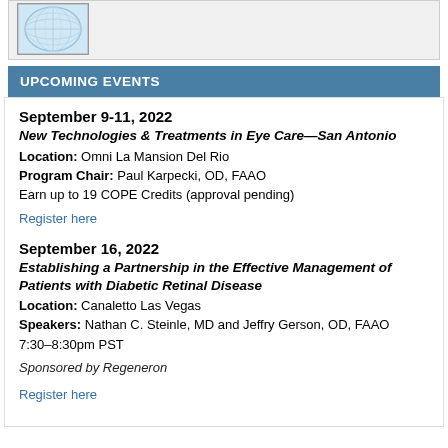[Figure (illustration): Circular globe or lens-like illustration with blue and white tones, partially visible in top-left area]
UPCOMING EVENTS
September 9-11, 2022
New Technologies & Treatments in Eye Care—San Antonio
Location: Omni La Mansion Del Rio
Program Chair: Paul Karpecki, OD, FAAO
Earn up to 19 COPE Credits (approval pending)
Register here
September 16, 2022
Establishing a Partnership in the Effective Management of Patients with Diabetic Retinal Disease
Location: Canaletto Las Vegas
Speakers: Nathan C. Steinle, MD and Jeffry Gerson, OD, FAAO
7:30–8:30pm PST
Sponsored by Regeneron
Register here